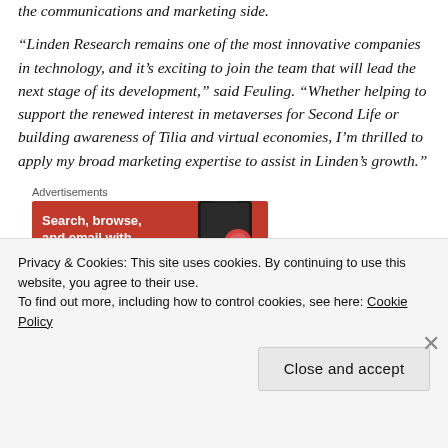the communications and marketing side.
“Linden Research remains one of the most innovative companies in technology, and it’s exciting to join the team that will lead the next stage of its development,” said Feuling. “Whether helping to support the renewed interest in metaverses for Second Life or building awareness of Tilia and virtual economies, I’m thrilled to apply my broad marketing expertise to assist in Linden’s growth.”
Advertisements
[Figure (screenshot): Orange DuckDuckGo advertisement banner showing a phone and text: Search, browse, and email with more privacy.]
Privacy & Cookies: This site uses cookies. By continuing to use this website, you agree to their use.
To find out more, including how to control cookies, see here: Cookie Policy
Close and accept